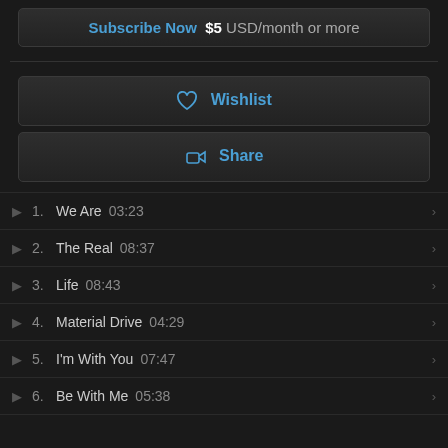Subscribe Now $5 USD/month or more
Wishlist
Share
1. We Are  03:23
2. The Real  08:37
3. Life  08:43
4. Material Drive  04:29
5. I'm With You  07:47
6. Be With Me  05:38